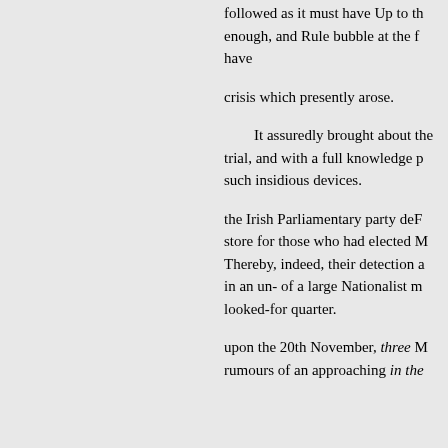followed as it must have Up to th enough, and Rule bubble at the f have
crisis which presently arose.
It assuredly brought about the trial, and with a full knowledge p such insidious devices.
the Irish Parliamentary party deF store for those who had elected M Thereby, indeed, their detection a in an un- of a large Nationalist m looked-for quarter.
upon the 20th November, three M rumours of an approaching in the
ing Mr Timothy Healy, Mr Justin a view diametrically bers spoke o leadership of far as we are able to especially of opinion of the Irish and Parnell was, at least at the be was especially vehement in the